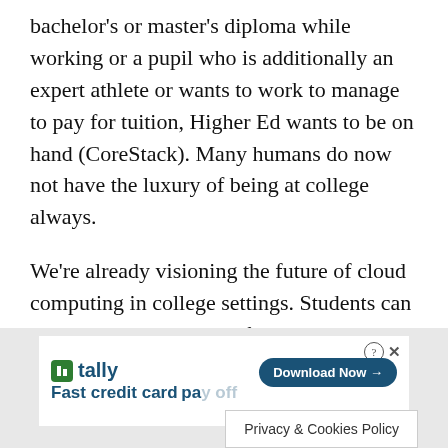bachelor's or master's diploma while working or a pupil who is additionally an expert athlete or wants to work to manage to pay for tuition, Higher Ed wants to be on hand (CoreStack). Many humans do now not have the luxury of being at college always.
We're already visioning the future of cloud computing in college settings. Students can attend training by way of video or by observing recordings of lectures. Proprietary or present software like Blackboard handles assignments in the cloud.
As with telecommuting and working remotely, one of the benefits of cloud computing in colleges and universities in the significant reduction in time spent on commuting,
[Figure (other): Advertisement banner for Tally app with 'Fast credit card payoff' tagline and 'Download Now' button, overlaid with a 'Privacy & Cookies Policy' popup]